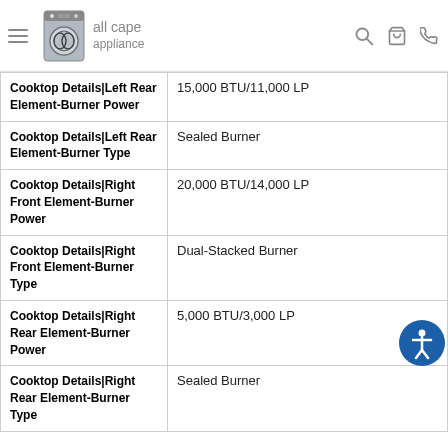all cape appliance
| Attribute | Value |
| --- | --- |
| Cooktop Details|Left Rear Element-Burner Power | 15,000 BTU/11,000 LP |
| Cooktop Details|Left Rear Element-Burner Type | Sealed Burner |
| Cooktop Details|Right Front Element-Burner Power | 20,000 BTU/14,000 LP |
| Cooktop Details|Right Front Element-Burner Type | Dual-Stacked Burner |
| Cooktop Details|Right Rear Element-Burner Power | 5,000 BTU/3,000 LP |
| Cooktop Details|Right Rear Element-Burner Type | Sealed Burner |